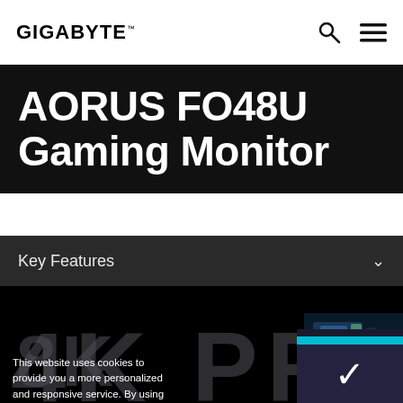GIGABYTE
AORUS FO48U Gaming Monitor
Key Features
[Figure (screenshot): Dark product page area showing '4K PRO' large watermark text and a partial product image in the top-right corner, plus a partial bottom text row on a black background]
This website uses cookies to provide you a more personalized and responsive service. By using this website you agree to our use of cookies. If you require more information or prefer not to accept cookies please visit our Privacy Policy